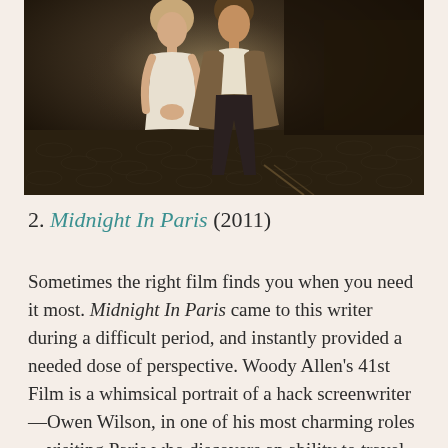[Figure (photo): A couple standing on a cobblestone street at night. A woman in a white dress and a man in a blazer stand close together. Dark, moody nighttime Paris setting.]
2. Midnight In Paris (2011)
Sometimes the right film finds you when you need it most. Midnight In Paris came to this writer during a difficult period, and instantly provided a needed dose of perspective. Woody Allen's 41st Film is a whimsical portrait of a hack screenwriter—Owen Wilson, in one of his most charming roles—visiting Paris who discovers an ability to travel back to the 1920s when writers like Hemingway (Corey Stoll) and Fitzgerald (T...